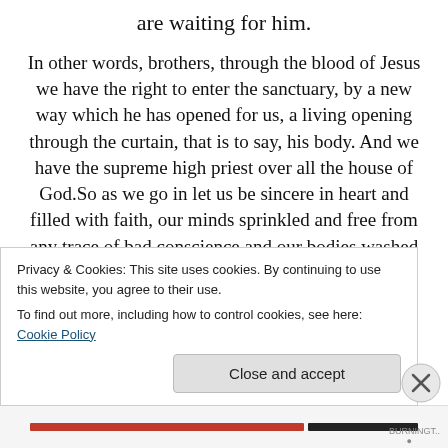are waiting for him.
In other words, brothers, through the blood of Jesus we have the right to enter the sanctuary, by a new way which he has opened for us, a living opening through the curtain, that is to say, his body. And we have the supreme high priest over all the house of God.So as we go in let us be sincere in heart and filled with faith, our minds sprinkled and free from any trace of bad conscience and our bodies washed with pure water. Let us keep firm in the hope we profess because the one who made the promise is faithful.
Privacy & Cookies: This site uses cookies. By continuing to use this website, you agree to their use.
To find out more, including how to control cookies, see here: Cookie Policy
Close and accept